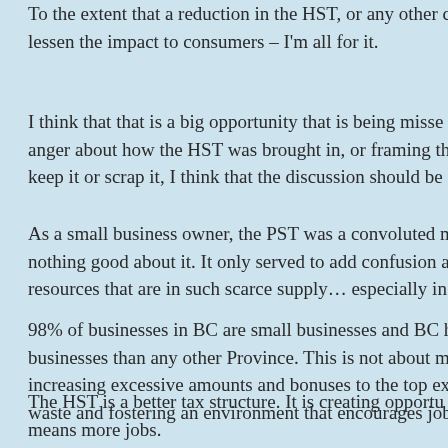To the extent that a reduction in the HST, or any other change, would lessen the impact to consumers – I'm all for it.
I think that that is a big opportunity that is being missed. Beyond the anger about how the HST was brought in, or framing the debate as either keep it or scrap it, I think that the discussion should be
As a small business owner, the PST was a convoluted mess. There was nothing good about it. It only served to add confusion and consumed resources that are in such scarce supply… especially in
98% of businesses in BC are small businesses and BC has more small businesses than any other Province. This is not about management increasing excessive amounts and bonuses to the top ex waste and fostering an environment that encourages job
The HST is a better tax structure. It is creating opportunities and means more jobs.